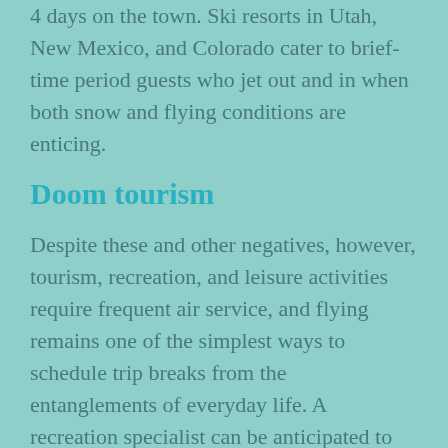4 days on the town. Ski resorts in Utah, New Mexico, and Colorado cater to brief-time period guests who jet out and in when both snow and flying conditions are enticing.
Doom tourism
Despite these and other negatives, however, tourism, recreation, and leisure activities require frequent air service, and flying remains one of the simplest ways to schedule trip breaks from the entanglements of everyday life. A recreation specialist can be anticipated to satisfy the leisure wants of a neighborhood or assigned curiosity group. Educational institutions provide programs that lead to a level as a Bachelor of Arts in recreation administration. People with such levels typically work in parks and recreation